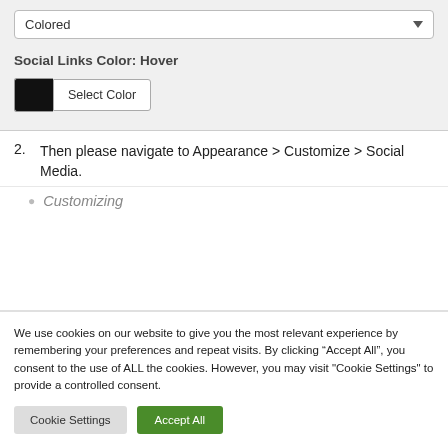[Figure (screenshot): UI settings panel showing a dropdown with 'Colored' selected and a Social Links Color Hover section with a black color swatch and 'Select Color' button on a gray background]
2. Then please navigate to Appearance > Customize > Social Media.
[Figure (screenshot): Partial screenshot showing 'Customizing' label with a bullet point]
We use cookies on our website to give you the most relevant experience by remembering your preferences and repeat visits. By clicking “Accept All”, you consent to the use of ALL the cookies. However, you may visit "Cookie Settings" to provide a controlled consent.